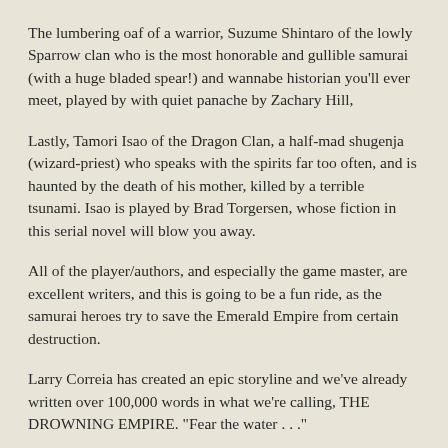The lumbering oaf of a warrior, Suzume Shintaro of the lowly Sparrow clan who is the most honorable and gullible samurai (with a huge bladed spear!) and wannabe historian you'll ever meet, played by with quiet panache by Zachary Hill,
Lastly, Tamori Isao of the Dragon Clan, a half-mad shugenja (wizard-priest) who speaks with the spirits far too often, and is haunted by the death of his mother, killed by a terrible tsunami. Isao is played by Brad Torgersen, whose fiction in this serial novel will blow you away.
All of the player/authors, and especially the game master, are excellent writers, and this is going to be a fun ride, as the samurai heroes try to save the Emerald Empire from certain destruction.
Larry Correia has created an epic storyline and we've already written over 100,000 words in what we're calling, THE DROWNING EMPIRE. "Fear the water . . ."